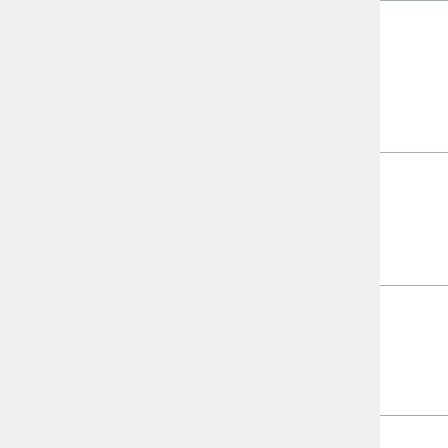| Time | Event | Deployers |
| --- | --- | --- |
| 00:00–01:00 UTC # (Wed) 17:00–18:00 PDT | Phabricator update | Mukunda (twentyafter… |
| 15:00–16:00 UTC # 08:00–09:00 PDT | Morning SWAT (Max 8 patches) | Brad (anomie), (ostriches), (thcipriani), (marktraceur…) Katie (aude) |
| 16:00–17:00 UTC # 09:00–10:00 PDT | Puppet SWAT (Max 8 patches) | Filippo (godog), Moritz (moritz… |
| 17:00–18:00 UTC # | Services – Graphoid / Parsoid / | Yuri (yurik), G (gwicke), C.Sc (cscott), Arl… |